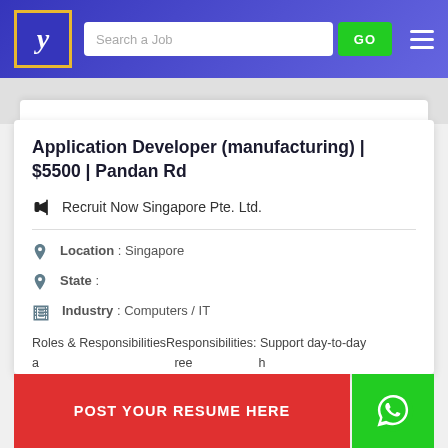Search a Job | GO
Application Developer (manufacturing) | $5500 | Pandan Rd
Recruit Now Singapore Pte. Ltd.
Location : Singapore
State :
Industry : Computers / IT
Roles & ResponsibilitiesResponsibilities: Support day-to-day a... ree... h s... ycl... design, test, release and support) Assist in design, planning
POST YOUR RESUME HERE